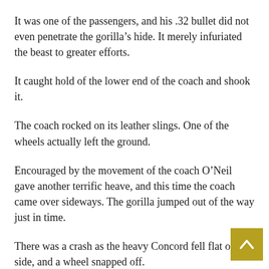It was one of the passengers, and his .32 bullet did not even penetrate the gorilla’s hide. It merely infuriated the beast to greater efforts.
It caught hold of the lower end of the coach and shook it.
The coach rocked on its leather slings. One of the wheels actually left the ground.
Encouraged by the movement of the coach O’Neil gave another terrific heave, and this time the coach came over sideways. The gorilla jumped out of the way just in time.
There was a crash as the heavy Concord fell flat on its side, and a wheel snapped off.
O’Neil’s temper was rising. Even now he could see no way into the coach. He gripped one of the wheels and wrenched it viciously. The wheel came off in his hand, and he flung it another twenty yards away.